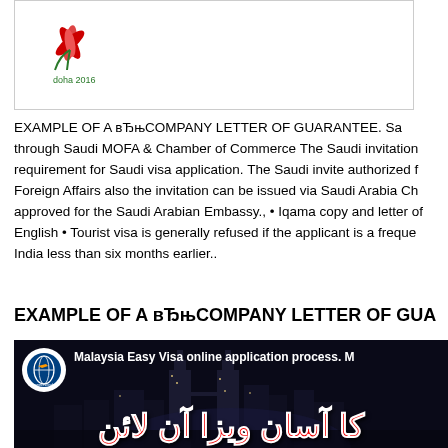[Figure (logo): Doha 2016 logo with floral design in red and green]
EXAMPLE OF A вЂњCOMPANY LETTER OF GUARANTEE. Sa through Saudi MOFA & Chamber of Commerce The Saudi invitation requirement for Saudi visa application. The Saudi invite authorized f Foreign Affairs also the invitation can be issued via Saudi Arabia Ch approved for the Saudi Arabian Embassy., • Iqama copy and letter of English • Tourist visa is generally refused if the applicant is a freque India less than six months earlier..
EXAMPLE OF A вЂњCOMPANY LETTER OF GUA
[Figure (screenshot): Video thumbnail showing Malaysia Easy Visa online application process with Urdu text overlay and Kuala Lumpur skyline background]